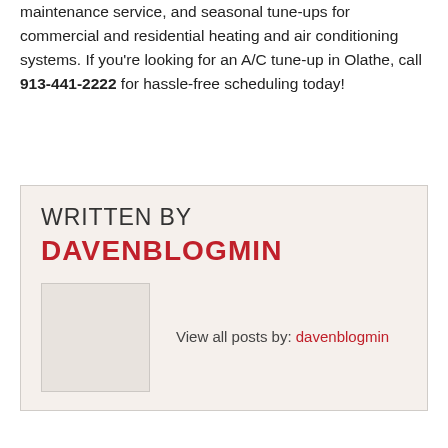maintenance service, and seasonal tune-ups for commercial and residential heating and air conditioning systems. If you're looking for an A/C tune-up in Olathe, call 913-441-2222 for hassle-free scheduling today!
WRITTEN BY
DAVENBLOGMIN
View all posts by: davenblogmin